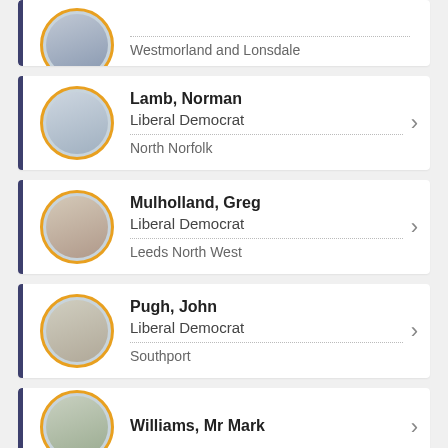Westmorland and Lonsdale
Lamb, Norman — Liberal Democrat — North Norfolk
Mulholland, Greg — Liberal Democrat — Leeds North West
Pugh, John — Liberal Democrat — Southport
Williams, Mr Mark